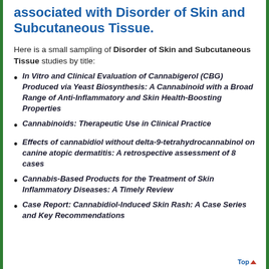associated with Disorder of Skin and Subcutaneous Tissue.
Here is a small sampling of Disorder of Skin and Subcutaneous Tissue studies by title:
In Vitro and Clinical Evaluation of Cannabigerol (CBG) Produced via Yeast Biosynthesis: A Cannabinoid with a Broad Range of Anti-Inflammatory and Skin Health-Boosting Properties
Cannabinoids: Therapeutic Use in Clinical Practice
Effects of cannabidiol without delta-9-tetrahydrocannabinol on canine atopic dermatitis: A retrospective assessment of 8 cases
Cannabis-Based Products for the Treatment of Skin Inflammatory Diseases: A Timely Review
Case Report: Cannabidiol-Induced Skin Rash: A Case Series and Key Recommendations
Top▲